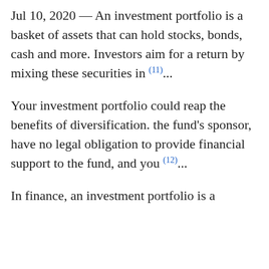Jul 10, 2020 — An investment portfolio is a basket of assets that can hold stocks, bonds, cash and more. Investors aim for a return by mixing these securities in (11)...
Your investment portfolio could reap the benefits of diversification. the fund's sponsor, have no legal obligation to provide financial support to the fund, and you (12)...
In finance, an investment portfolio is a